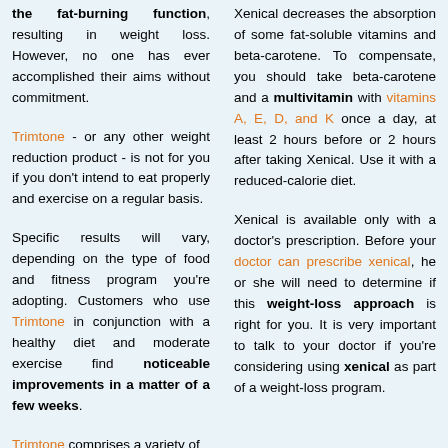the fat-burning function, resulting in weight loss. However, no one has ever accomplished their aims without commitment.
Trimtone - or any other weight reduction product - is not for you if you don't intend to eat properly and exercise on a regular basis.
Specific results will vary, depending on the type of food and fitness program you're adopting. Customers who use Trimtone in conjunction with a healthy diet and moderate exercise find noticeable improvements in a matter of a few weeks.
Trimtone comprises a variety of
Xenical decreases the absorption of some fat-soluble vitamins and beta-carotene. To compensate, you should take beta-carotene and a multivitamin with vitamins A, E, D, and K once a day, at least 2 hours before or 2 hours after taking Xenical. Use it with a reduced-calorie diet.
Xenical is available only with a doctor's prescription. Before your doctor can prescribe xenical, he or she will need to determine if this weight-loss approach is right for you. It is very important to talk to your doctor if you're considering using xenical as part of a weight-loss program.